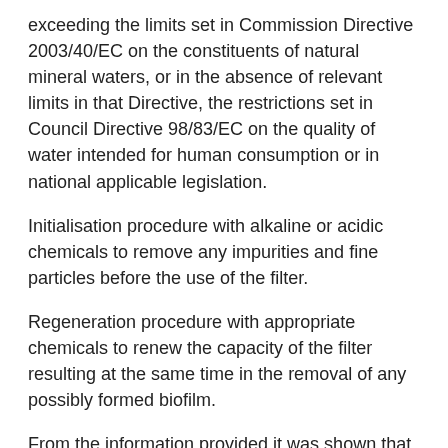exceeding the limits set in Commission Directive 2003/40/EC on the constituents of natural mineral waters, or in the absence of relevant limits in that Directive, the restrictions set in Council Directive 98/83/EC on the quality of water intended for human consumption or in national applicable legislation.
Initialisation procedure with alkaline or acidic chemicals to remove any impurities and fine particles before the use of the filter.
Regeneration procedure with appropriate chemicals to renew the capacity of the filter resulting at the same time in the removal of any possibly formed biofilm.
From the information provided it was shown that under optimised process conditions the release of impurities due to the use of the activated alumina, if it occurs at all, is always lower than the relevant limits set in the Directives mentioned above.